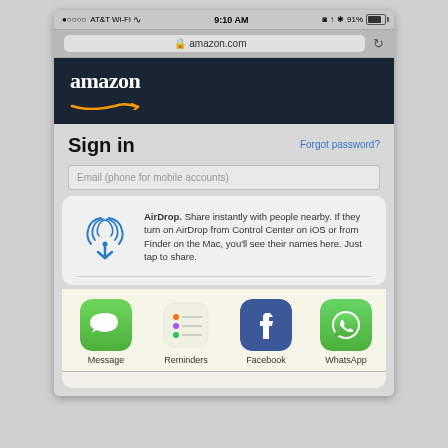[Figure (screenshot): iOS mobile browser screenshot showing Amazon.com sign-in page with AirDrop share sheet overlay. Status bar shows AT&T Wi-Fi, 9:10 AM, 91% battery. URL bar shows amazon.com. Amazon dark header with logo. Sign in heading with Forgot password link. Email input field. AirDrop panel explaining how to share. Share row with Message, Reminders, Facebook, WhatsApp app icons.]